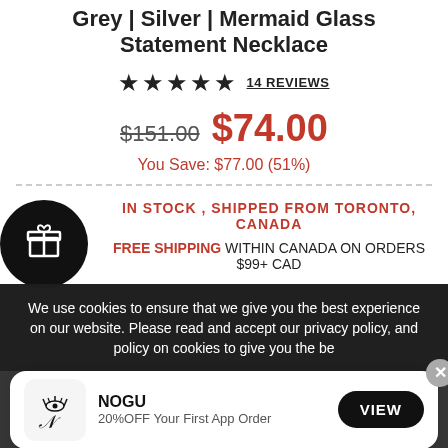Grey | Silver | Mermaid Glass Statement Necklace
★★★★★  14 REVIEWS
$151.00  $74.00
You Save: $77.00 (51%)
IN STOCK , SHIPPED FROM TORONTO, CANADA
FREE SHIPPING WITHIN CANADA ON ORDERS $99+ CAD
We use cookies to ensure that we give you the best experience on our website. Please read and accept our privacy policy, and policy on cookies to give you the be
NOGU
20%OFF Your First App Order
VIEW